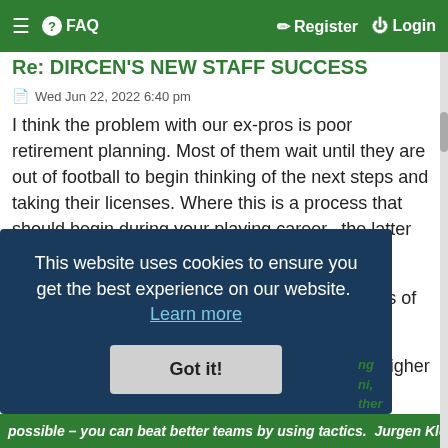≡  ❓ FAQ    ✎ Register  ⏻ Login
Re: DIRCEN'S NEW STAFF SUCCESS
Wed Jun 22, 2022 6:40 pm
I think the problem with our ex-pros is poor retirement planning. Most of them wait until they are out of football to begin thinking of the next steps and taking their licenses. Where this is a process that should begin during your playing career...the latter stages of the playing career...
I cannot criticize him, not knowing the full details of how and why...
But with his pedigree, he should've been on a higher level with good planning.
[Figure (screenshot): Cookie consent banner with dark navy background reading 'This website uses cookies to ensure you get the best experience on our website. Learn more' and a 'Got it!' button]
possible – you can beat better teams by using tactics.  Jurgen Klopp